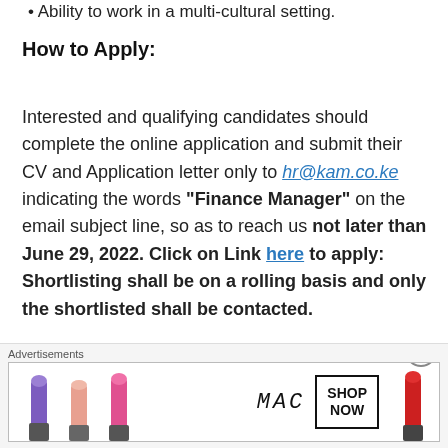Ability to work in a multi-cultural setting.
How to Apply:
Interested and qualifying candidates should complete the online application and submit their CV and Application letter only to hr@kam.co.ke indicating the words “Finance Manager” on the email subject line, so as to reach us not later than June 29, 2022. Click on Link here to apply: Shortlisting shall be on a rolling basis and only the shortlisted shall be contacted.
[Figure (illustration): MAC cosmetics advertisement showing lipsticks with SHOP NOW call to action]